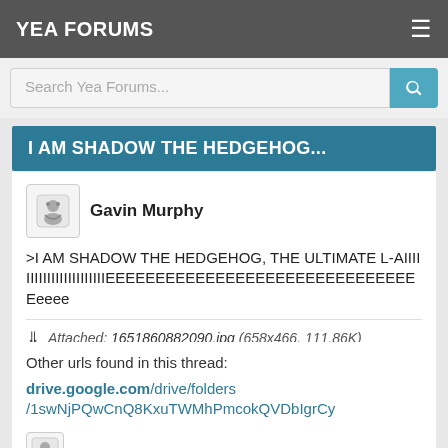YEA FORUMS
Search Yea Forums...
I AM SHADOW THE HEDGEHOG...
Gavin Murphy
>I AM SHADOW THE HEDGEHOG, THE ULTIMATE L-AIIIIIIIIIIIIIIIIIIIIIIIEEEEEEEEEEEEEEEEEEEEEEEEEEEEEEEEeee
Attached: 1651860882090.jpg (658x466, 111.86K)
Other urls found in this thread:
drive.google.com/drive/folders/1swNjPQwCnQ8KxuTWMhPmcokQVDbIgrCy